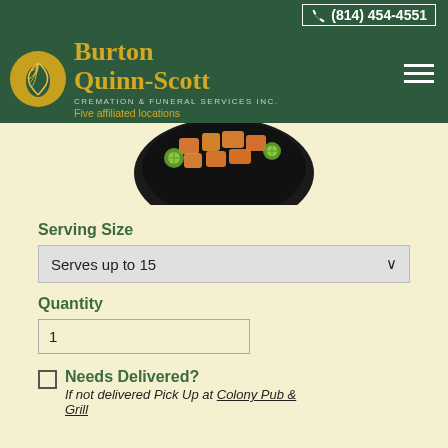(814) 454-4551
[Figure (logo): Burton Quinn-Scott Cremation & Funeral Services Inc. logo with gold wheat/leaf emblem on green background. Five affiliated locations tagline.]
[Figure (photo): Partial view of a black plate with cantaloupe/melon chunks and kiwi slices arranged on it, on a cream background.]
Serving Size
Serves up to 15
Quantity
1
Needs Delivered? If not delivered Pick Up at Colony Pub & Grill